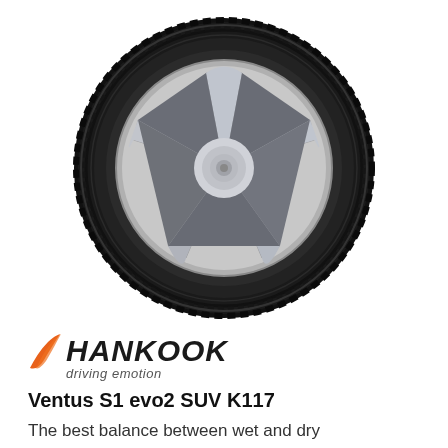[Figure (photo): A Hankook Ventus S1 evo2 SUV K117 tire with silver alloy wheel rim, shown at a slight angle against a white background.]
[Figure (logo): Hankook logo with orange wing graphic and italic black text reading HANKOOK, with tagline 'driving emotion' below in italic gray.]
Ventus S1 evo2 SUV K117
The best balance between wet and dry performance A controlled and precise cornering ability when driving at higher speeds Satisfies both performance and environmental needs through minimi